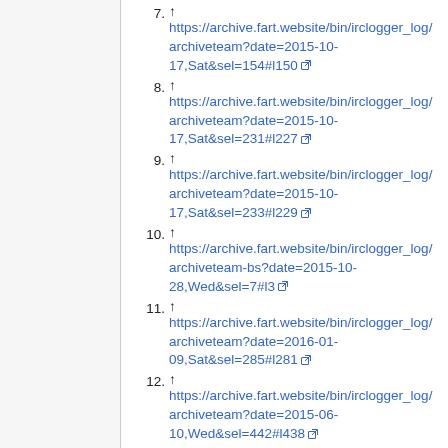7. ↑ https://archive.fart.website/bin/irclogger_log/archiveteam?date=2015-10-17,Sat&sel=154#l150
8. ↑ https://archive.fart.website/bin/irclogger_log/archiveteam?date=2015-10-17,Sat&sel=231#l227
9. ↑ https://archive.fart.website/bin/irclogger_log/archiveteam?date=2015-10-17,Sat&sel=233#l229
10. ↑ https://archive.fart.website/bin/irclogger_log/archiveteam-bs?date=2015-10-28,Wed&sel=7#l3
11. ↑ https://archive.fart.website/bin/irclogger_log/archiveteam?date=2016-01-09,Sat&sel=285#l281
12. ↑ https://archive.fart.website/bin/irclogger_log/archiveteam?date=2015-06-10,Wed&sel=442#l438
13. ↑